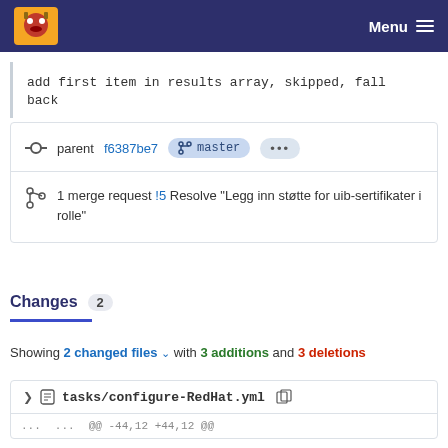Menu
add first item in results array, skipped, fall back
parent f6387be7  master  ...
1 merge request !5 Resolve "Legg inn støtte for uib-sertifikater i rolle"
Changes 2
Showing 2 changed files with 3 additions and 3 deletions
tasks/configure-RedHat.yml
@@ -44,12 +44,12 @@